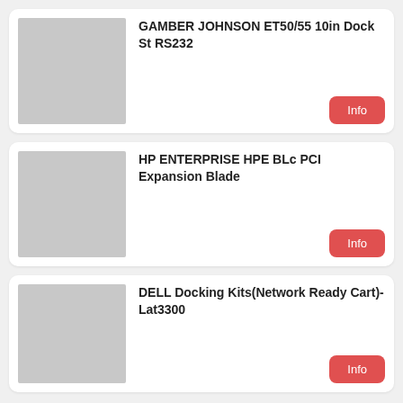[Figure (photo): Gray placeholder image for product listing 1]
GAMBER JOHNSON ET50/55 10in Dock St RS232
[Figure (photo): Gray placeholder image for product listing 2]
HP ENTERPRISE HPE BLc PCI Expansion Blade
[Figure (photo): Gray placeholder image for product listing 3]
DELL Docking Kits(Network Ready Cart)-Lat3300